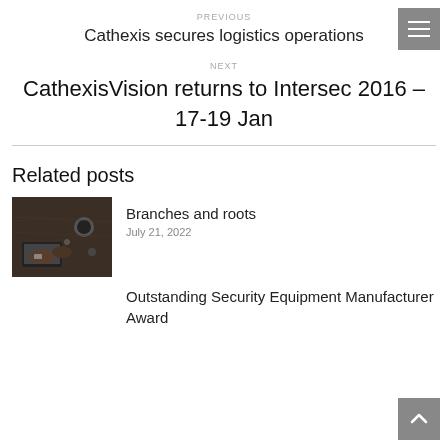PREVIOUS
Cathexis secures logistics operations
NEXT
CathexisVision returns to Intersec 2016 – 17-19 Jan
Related posts
[Figure (photo): Overhead view of person at desk with laptop and coffee]
Branches and roots
July 21, 2022
Outstanding Security Equipment Manufacturer Award